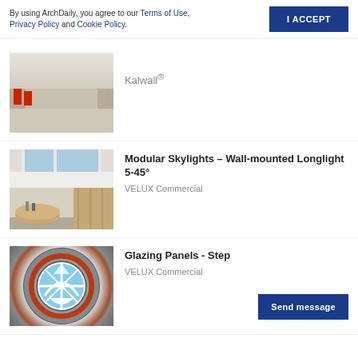By using ArchDaily, you agree to our Terms of Use, Privacy Policy and Cookie Policy.
I ACCEPT
[Figure (photo): Interior lobby with translucent skylight ceiling panels, stone walls with red banners, and a large open hall]
Kalwall®
[Figure (photo): Interior commercial space with wall-mounted longlight skylight above, wooden paneling, and a circular reception desk]
Modular Skylights – Wall-mounted Longlight 5-45°
VELUX Commercial
[Figure (photo): Aerial view looking up through a circular skylight with geometric white framing and blue sky visible, surrounded by decorative circular border]
Glazing Panels - Step
VELUX Commercial
Send message